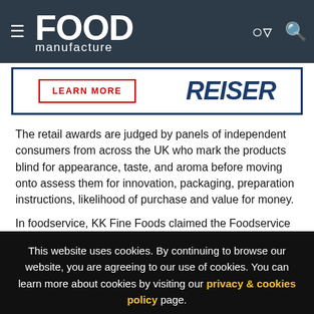Food Manufacture
[Figure (advertisement): Reiser advertisement banner with 'LEARN MORE' button and REISER logo in blue]
The retail awards are judged by panels of independent consumers from across the UK who mark the products blind for appearance, taste, and aroma before moving onto assess them for innovation, packaging, preparation instructions, likelihood of purchase and value for money.
In foodservice, KK Fine Foods claimed the Foodservice
This website uses cookies. By continuing to browse our website, you are agreeing to our use of cookies. You can learn more about cookies by visiting our privacy & cookies policy page.